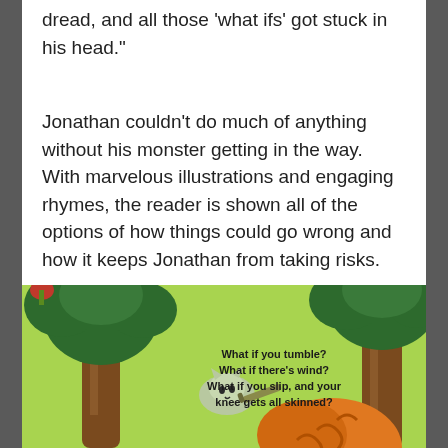dread, and all those ‘what ifs’ got stuck in his head.”
Jonathan couldn’t do much of anything without his monster getting in the way. With marvelous illustrations and engaging rhymes, the reader is shown all of the options of how things could go wrong and how it keeps Jonathan from taking risks.
[Figure (illustration): A colorful children's book illustration showing cartoon trees with dark green leaves and brown trunks against a bright yellow-green background. A small grey cat-like creature is falling or flying in the center-left area. An orange round creature with swirling patterns appears at the bottom right. Text overlay reads: 'What if you tumble? What if there's wind? What if you slip, and your knee gets all skinned?']